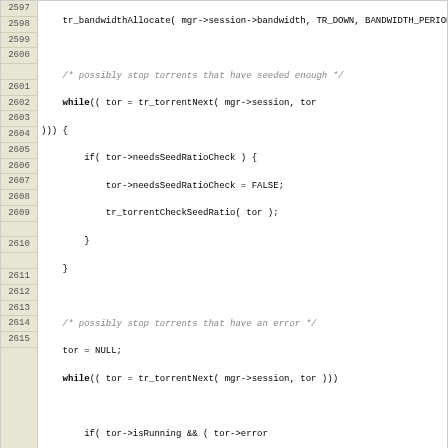[Figure (screenshot): Source code viewer showing C code lines 2597-2615 with line numbers on left in beige background]
View changes...
Note: See TracBrowser for help on using the repository browser.
Download in other formats:
Plain Text | Original Format
Powered by Trac 1.0.9 By Edgewall Software. Visit the Trac open source project at http://trac.edgewall.com/